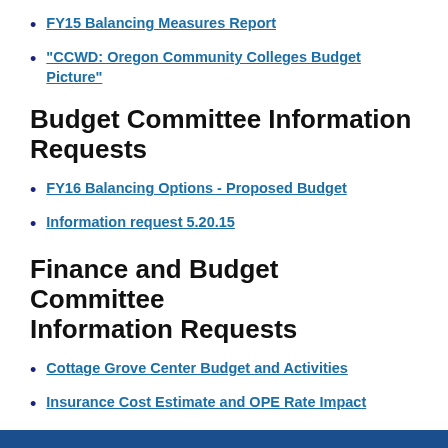FY15 Balancing Measures Report
"CCWD: Oregon Community Colleges Budget Picture"
Budget Committee Information Requests
FY16 Balancing Options - Proposed Budget
Information request 5.20.15
Finance and Budget Committee Information Requests
Cottage Grove Center Budget and Activities
Insurance Cost Estimate and OPE Rate Impact
Step Costing Summary